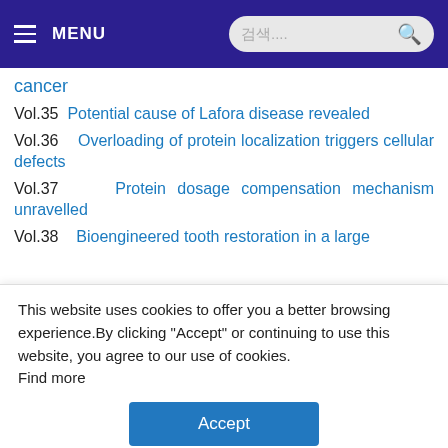MENU
cancer
Vol.35   Potential cause of Lafora disease revealed
Vol.36   Overloading of protein localization triggers cellular defects
Vol.37   Protein dosage compensation mechanism unravelled
Vol.38   Bioengineered tooth restoration in a large
This website uses cookies to offer you a better browsing experience.By clicking "Accept" or continuing to use this website, you agree to our use of cookies.
Find more
Accept